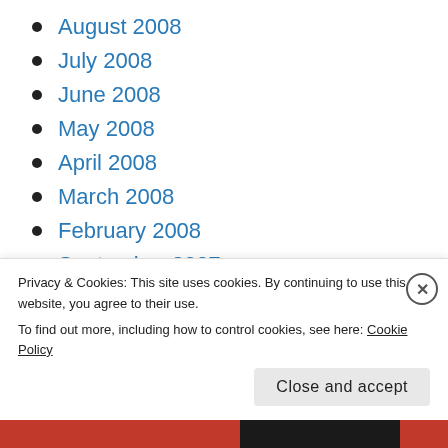August 2008
July 2008
June 2008
May 2008
April 2008
March 2008
February 2008
September 2007
August 2007
July 2007
June 2007
Privacy & Cookies: This site uses cookies. By continuing to use this website, you agree to their use. To find out more, including how to control cookies, see here: Cookie Policy